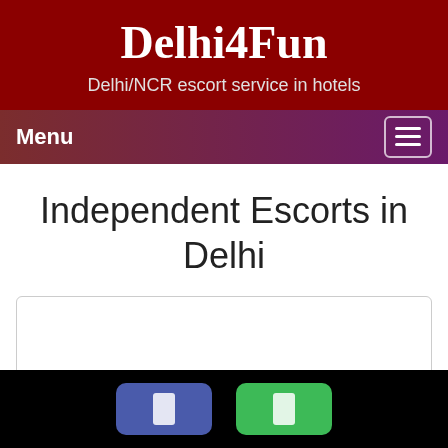Delhi4Fun
Delhi/NCR escort service in hotels
Menu
Independent Escorts in Delhi
[Figure (screenshot): Empty white content box with border]